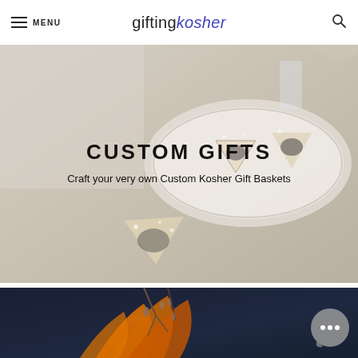MENU | giftingkosher
[Figure (photo): Hero image showing kosher pastries (hamantaschen) on a plate with powdered sugar, with overlay text 'CUSTOM GIFTS' and subtitle 'Craft your very own Custom Kosher Gift Baskets']
CUSTOM GIFTS
Craft your very own Custom Kosher Gift Baskets
[Figure (photo): Bottom partial image showing decorative branches and orange/golden feathers against a dark blue background]
[Figure (other): Chat support bubble with three dots indicator in bottom right corner]